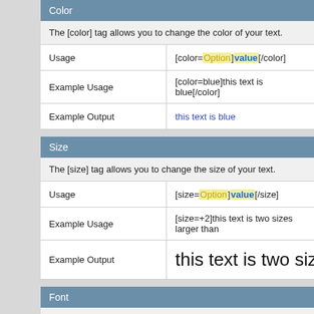Color
The [color] tag allows you to change the color of your text.
| Usage | [color=Option]value[/color] |
| Example Usage | [color=blue]this text is blue[/color] |
| Example Output | this text is blue |
Size
The [size] tag allows you to change the size of your text.
| Usage | [size=Option]value[/size] |
| Example Usage | [size=+2]this text is two sizes larger than... |
| Example Output | this text is two sizes la... |
Font
The [font] tag allows you to change the font of your text.
| Usage | [font=Option]value[/font] |
| Example Usage | [font=courier]this text is in the courier fo... |
| Example Output | this text is in the courier fo... |